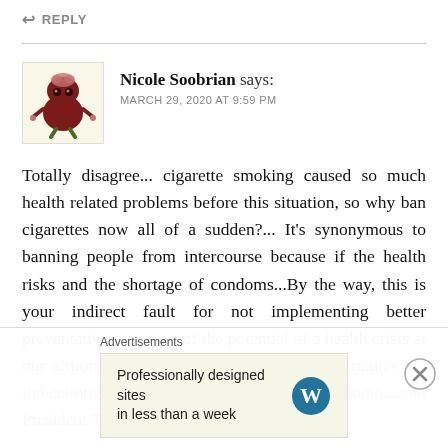↩ REPLY
Nicole Soobrian says:
MARCH 29, 2020 AT 9:59 PM
Totally disagree... cigarette smoking caused so much health related problems before this situation, so why ban cigarettes now all of a sudden?... It's synonymous to banning people from intercourse because if the health risks and the shortage of condoms...By the way, this is your indirect fault for not implementing better preventative measures of the potential of a health crisis at our airports, by simply checking body temperatures for indications of infection, Governor Cuomo....and President Trump...maybe if we had
Advertisements
Professionally designed sites in less than a week